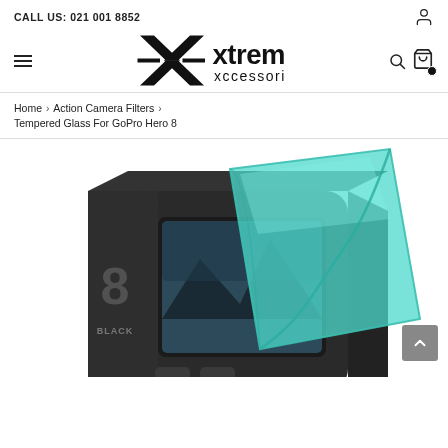CALL US: 021 001 8852
[Figure (logo): Xtreme Xccessories logo with stylized X icon and brand name]
Home › Action Camera Filters › Tempered Glass For GoPro Hero 8
[Figure (photo): GoPro Hero 8 Black action camera with tempered glass screen protector being applied, teal/green glass protector visible]